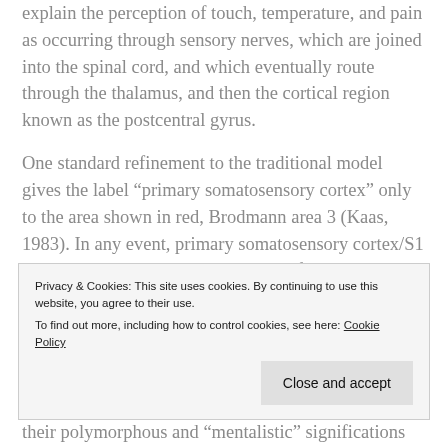explain the perception of touch, temperature, and pain as occurring through sensory nerves, which are joined into the spinal cord, and which eventually route through the thalamus, and then the cortical region known as the postcentral gyrus.
One standard refinement to the traditional model gives the label “primary somatosensory cortex” only to the area shown in red, Brodmann area 3 (Kaas, 1983). In any event, primary somatosensory cortex/S1 is conventionally modeled as having four complete maps of the body surface. Arguably, the biological/anatomical grounding of this concept
Privacy & Cookies: This site uses cookies. By continuing to use this website, you agree to their use.
To find out more, including how to control cookies, see here: Cookie Policy
their polymorphous and “mentalistic” significations